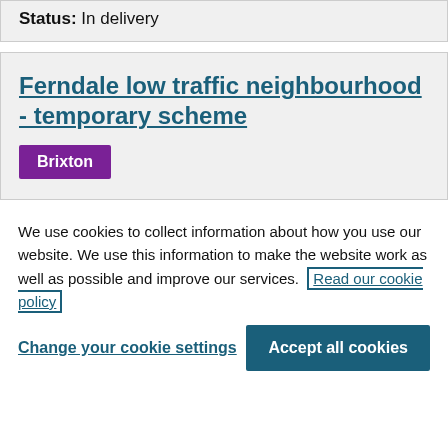Status: In delivery
Ferndale low traffic neighbourhood - temporary scheme
Brixton
We use cookies to collect information about how you use our website. We use this information to make the website work as well as possible and improve our services. Read our cookie policy
Change your cookie settings
Accept all cookies